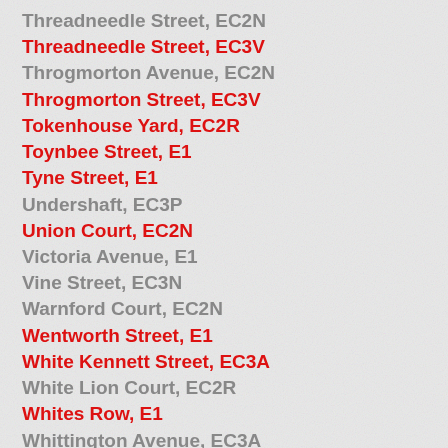Threadneedle Street, EC2N
Threadneedle Street, EC3V
Throgmorton Avenue, EC2N
Throgmorton Street, EC3V
Tokenhouse Yard, EC2R
Toynbee Street, E1
Tyne Street, E1
Undershaft, EC3P
Union Court, EC2N
Victoria Avenue, E1
Vine Street, EC3N
Warnford Court, EC2N
Wentworth Street, E1
White Kennett Street, EC3A
White Lion Court, EC2R
Whites Row, E1
Whittington Avenue, EC3A
Whittington Avenue, EC3V
Widegate Street, E1